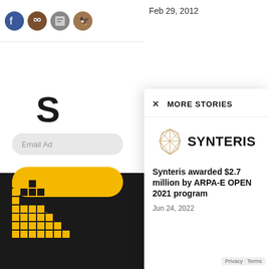Feb 29, 2012
S
Email Ad
We don't s
× MORE STORIES
[Figure (logo): Synteris geometric polygon logo with company name SYNTERIS in bold sans-serif]
Synteris awarded $2.7 million by ARPA-E OPEN 2021 program
Jun 24, 2022
THE INDEPENDENT AM MAGAZINE